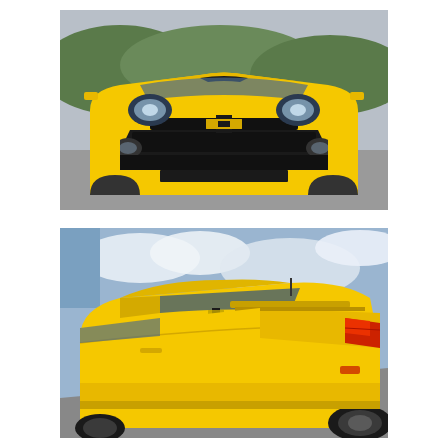[Figure (photo): Front view of a yellow Chevrolet Camaro sports car on a road with hills and trees in the background. The car faces the camera directly, showing the Bowtie logo on the grille, dual headlights, and aggressive front bumper.]
[Figure (photo): Rear three-quarter view of a yellow Chevrolet Camaro sports car under a partly cloudy sky. The image shows the rear spoiler, red tail lights, and the sloping roofline of the coupe from a low angle.]